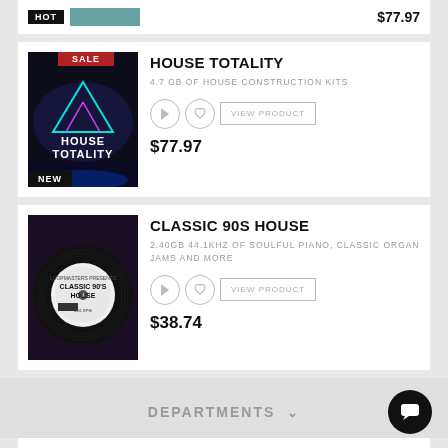$77.97
HOUSE TOTALITY
4.7 GB OF HOUSE CONSTRUCTION KITS
$77.97
CLASSIC 90S HOUSE
2.40GB 44.1KHZ OF SOULFUL PIANO, CLASSIC ORGAN JAMS AND MORE
$38.74
DEPARTMENTS